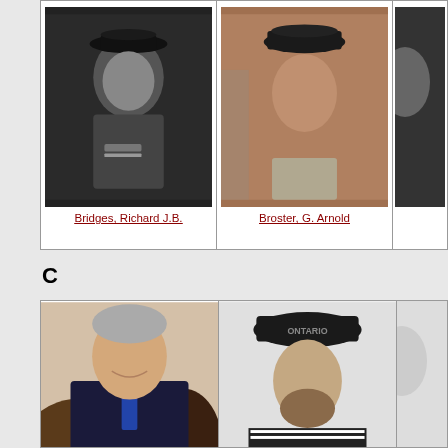[Figure (photo): Black and white portrait photo of a naval officer in uniform with cap and medals — Bridges, Richard J.B.]
Bridges, Richard J.B.
[Figure (photo): Color photo of a man in naval work uniform and cap — Broster, G. Arnold]
Broster, G. Arnold
[Figure (photo): Partial photo cropped at right edge]
C
[Figure (photo): Color portrait of an older man in dark suit and tie, smiling]
[Figure (photo): Black and white portrait of a young bearded sailor wearing an ONTARIO cap and white-striped naval uniform]